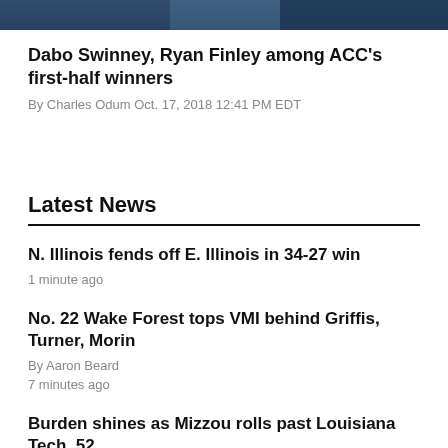[Figure (photo): Sports photo strip at top of page]
Dabo Swinney, Ryan Finley among ACC's first-half winners
By Charles Odum Oct. 17, 2018 12:41 PM EDT
Latest News
N. Illinois fends off E. Illinois in 34-27 win
1 minute ago
No. 22 Wake Forest tops VMI behind Griffis, Turner, Morin
By Aaron Beard
7 minutes ago
Burden shines as Mizzou rolls past Louisiana Tech, 52